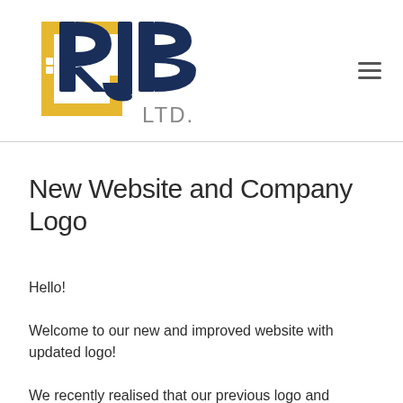[Figure (logo): RJB Ltd. company logo with dark blue letters R, J, B and a yellow house/building shape, with 'LTD.' in grey text]
New Website and Company Logo
Hello!
Welcome to our new and improved website with updated logo!
We recently realised that our previous logo and website no longer reflected us as a company. So quietly behind the scenes